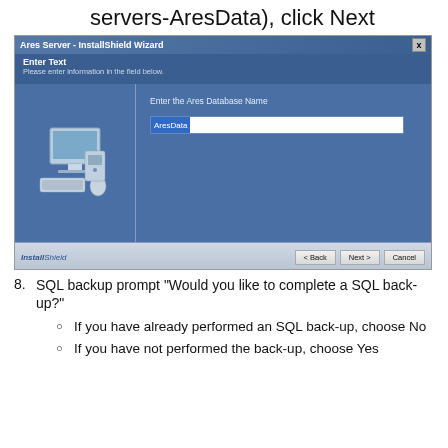servers-AresData), click Next
[Figure (screenshot): InstallShield Wizard dialog for Ares Server showing 'Enter Text' panel with a text field containing 'AresData' highlighted, a computer icon on the left, and Back/Next/Cancel buttons at the bottom.]
8. SQL backup prompt "Would you like to complete a SQL back-up?"
If you have already performed an SQL back-up, choose No
If you have not performed the back-up, choose Yes